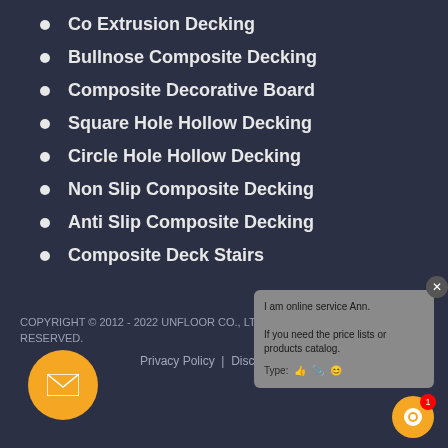Co Extrusion Decking
Bullnose Composite Decking
Composite Decorative Board
Square Hole Hollow Decking
Circle Hole Hollow Decking
Non Slip Composite Decking
Anti Slip Composite Decking
Composite Deck Stairs
COPYRIGHT © 2012 - 2022 UNFLOOR CO., LTD. ALL RIGHTS RESERVED.
Privacy Policy  |  Disclaimer